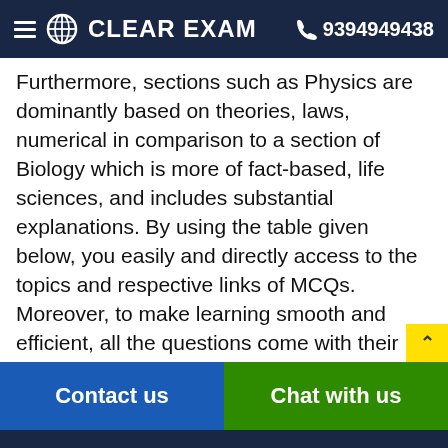CLEAR EXAM  9394949438
Furthermore, sections such as Physics are dominantly based on theories, laws, numerical in comparison to a section of Biology which is more of fact-based, life sciences, and includes substantial explanations. By using the table given below, you easily and directly access to the topics and respective links of MCQs. Moreover, to make learning smooth and efficient, all the questions come with their supportive solutions to make utilization of time even more productive. Students will be covered for all their studies as the topics are available from basics to even the most advanced.
Contact us   Chat with us